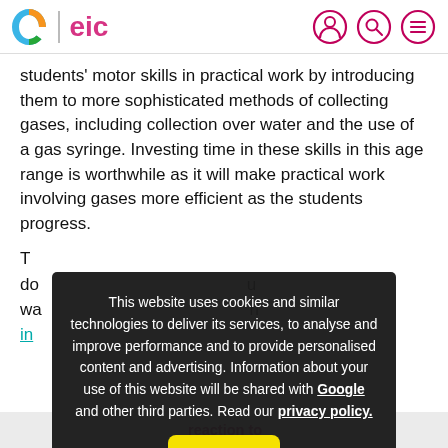eic
students' motor skills in practical work by introducing them to more sophisticated methods of collecting gases, including collection over water and the use of a gas syringe. Investing time in these skills in this age range is worthwhile as it will make practical work involving gases more efficient as the students progress.
This website uses cookies and similar technologies to deliver its services, to analyse and improve performance and to provide personalised content and advertising. Information about your use of this website will be shared with Google and other third parties. Read our privacy policy.
reaction to